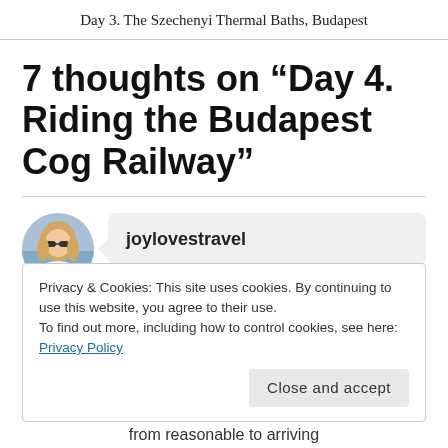Day 3. The Szechenyi Thermal Baths, Budapest
7 thoughts on “Day 4. Riding the Budapest Cog Railway”
joylovestravel
Privacy & Cookies: This site uses cookies. By continuing to use this website, you agree to their use.
To find out more, including how to control cookies, see here: Privacy Policy
Close and accept
from reasonable to arriving